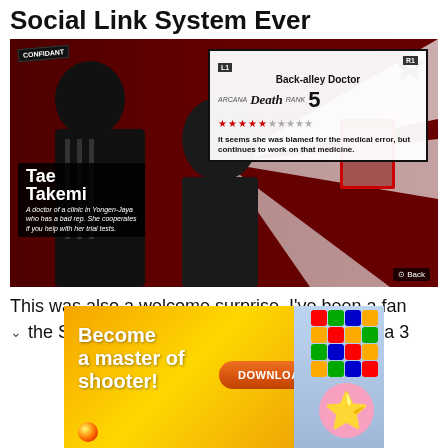Social Link System Ever
[Figure (screenshot): Persona 5 game screenshot showing Tae Takemi confidant card. Back-alley Doctor, Arcana: Death, Rank 5. Character description: A doctor of a clinic in Yongen-Jaya who has a bad rep. She cooperates if you help with her trial tests. Quote: It seems she was blamed for the medical error, but continues to work on that medicine.]
This was also a welcome surprise. I've been a fan
the Social Link system since I played Persona 3
[Figure (other): Advertisement banner: Become a master of shooter! DOWNLOAD NOW button. Mobile game advertisement with puzzle game screenshots.]